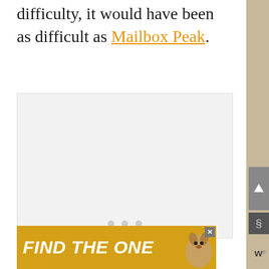difficulty, it would have been as difficult as Mailbox Peak.
[Figure (photo): Large white/light gray image placeholder area with three gray dots at the bottom center indicating a slideshow or carousel]
[Figure (infographic): Advertisement banner with golden/yellow background showing 'FIND THE ONE' text in bold white italic letters with a dog image on the right side and a close button]